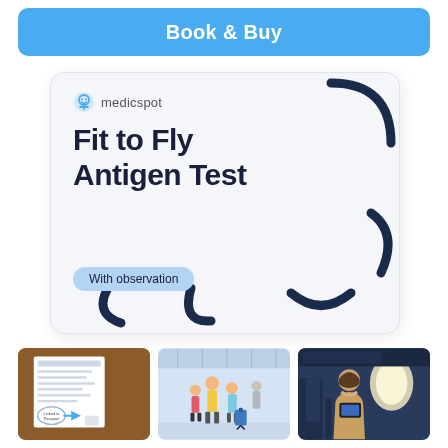Book & Buy
[Figure (photo): Medicspot Fit to Fly Antigen Test product box with 'With observation' label and decorative blue arcs on white background]
[Figure (photo): A medical certificate document with a circular annotation arrow pointing to passport number field, on a brown/wooden background]
[Figure (photo): A family with luggage walking through a modern airport terminal]
[Figure (photo): A woman sitting by an airplane window reading a tablet]